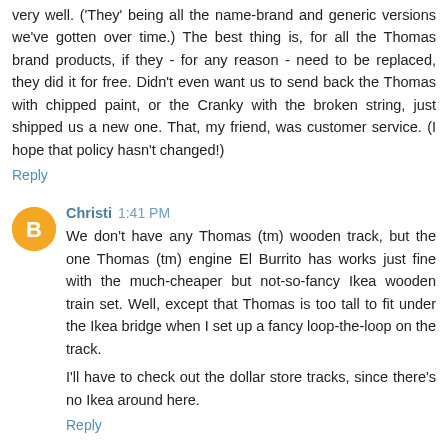very well. ('They' being all the name-brand and generic versions we've gotten over time.) The best thing is, for all the Thomas brand products, if they - for any reason - need to be replaced, they did it for free. Didn't even want us to send back the Thomas with chipped paint, or the Cranky with the broken string, just shipped us a new one. That, my friend, was customer service. (I hope that policy hasn't changed!)
Reply
Christi 1:41 PM
We don't have any Thomas (tm) wooden track, but the one Thomas (tm) engine El Burrito has works just fine with the much-cheaper but not-so-fancy Ikea wooden train set. Well, except that Thomas is too tall to fit under the Ikea bridge when I set up a fancy loop-the-loop on the track.
I'll have to check out the dollar store tracks, since there's no Ikea around here.
Reply